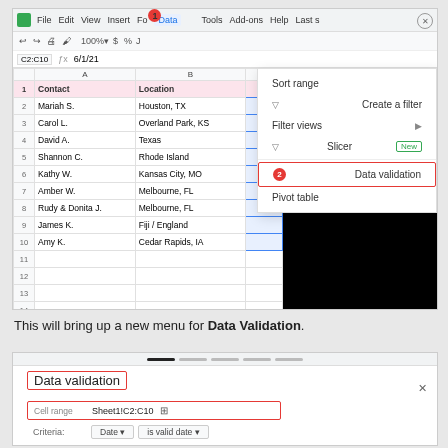[Figure (screenshot): Google Sheets screenshot showing a spreadsheet with Contact and Location columns, Data menu open with options including Sort range, Create a filter, Filter views, Slicer (New), Data validation (highlighted with red badge 2), and Pivot table. A black panel with loading circle is shown in the top right. Step 1 badge points to Data menu, Step 2 badge points to Data validation.]
This will bring up a new menu for Data Validation.
[Figure (screenshot): Google Sheets Data validation dialog showing title 'Data validation' with red border, Cell range field showing Sheet1!C2:C10 with grid icon, and Criteria field showing 'Date' and 'is valid date' dropdowns.]